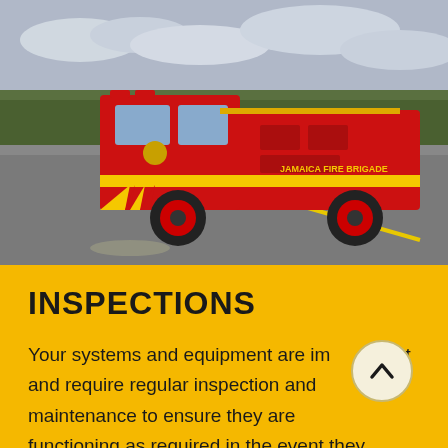[Figure (photo): Red fire truck with yellow chevron markings and red wheels on a road, with trees and overcast sky in the background. Text on the truck reads 'Jamaica Fire Brigade'.]
INSPECTIONS
Your systems and equipment are important and require regular inspection and maintenance to ensure they are functioning as required in the event they need to respond